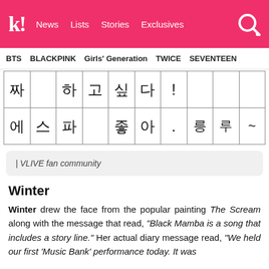k! News Lists Stories Exclusives
BTS BLACKPINK Girls' Generation TWICE SEVENTEEN
[Figure (other): Handwritten Korean text in a grid table. Row 1: 짜, (blank), 하, 고, 싶, 다, !, (blank), (blank), (blank). Row 2: 에, 스, 파, (blank), 좋, 아, ., 릉, 루, ~]
| VLIVE fan community
Winter
Winter drew the face from the popular painting The Scream along with the message that read, "Black Mamba is a song that includes a story line." Her actual diary message read, "We held our first 'Music Bank' performance today. It was